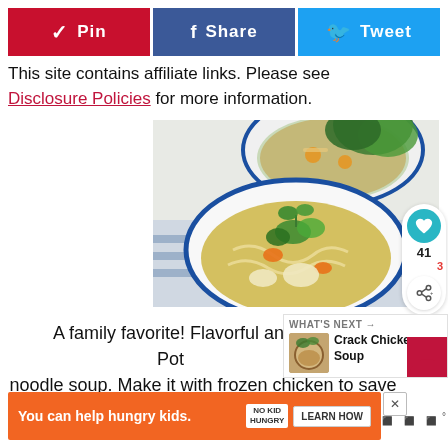[Figure (infographic): Social sharing buttons row: Pinterest Pin (red), Facebook Share (blue), Twitter Tweet (light blue)]
This site contains affiliate links. Please see Disclosure Policies for more information.
[Figure (photo): Two white bowls with blue rims filled with chicken noodle soup garnished with fresh parsley, on a white surface with blue-striped cloth]
A family favorite! Flavorful and Instant Pot noodle soup. Make it with frozen chicken to save ti...
[Figure (infographic): What's Next panel showing Crack Chicken Soup with thumbnail image]
[Figure (infographic): Ad banner: You can help hungry kids. No Kid Hungry. Learn How button]